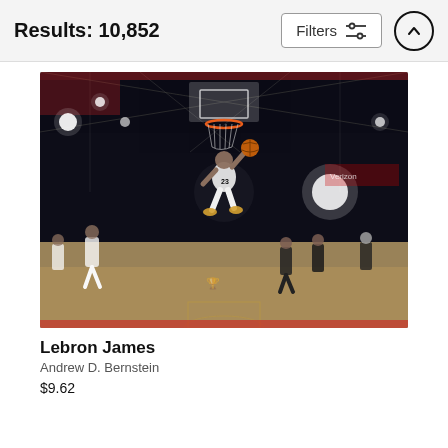Results: 10,852
Filters
[Figure (photo): NBA basketball game photo showing a player wearing number 23 in white uniform (LeBron James) jumping toward the basket for a dunk in a darkened arena. Players from both teams visible on the court. The arena has red accents and Verizon sponsorship banners.]
Lebron James
Andrew D. Bernstein
$9.62